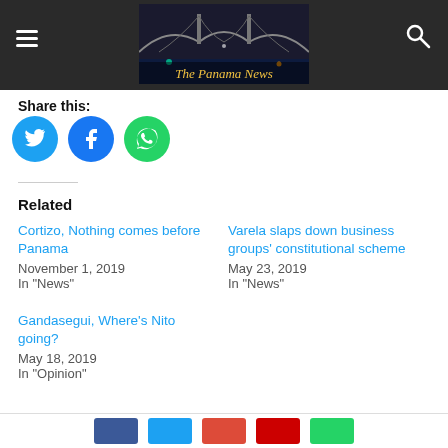The Panama News
Share this:
[Figure (illustration): Social share buttons: Twitter (blue circle), Facebook (blue circle), WhatsApp (green circle)]
Related
Cortizo, Nothing comes before Panama
November 1, 2019
In "News"
Varela slaps down business groups' constitutional scheme
May 23, 2019
In "News"
Gandasegui, Where’s Nito going?
May 18, 2019
In "Opinion"
Social share footer buttons